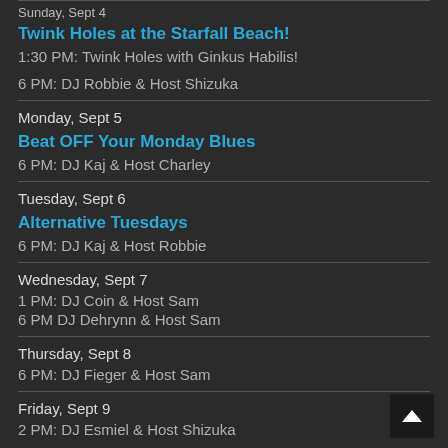Sunday, Sept 4
Twink Holes at the Starfall Beach!
1:30 PM: Twink Holes with Ginkus Habilis!
6 PM: DJ Robbie & Host Shizuka
Monday, Sept 5
Beat OFF Your Monday Blues
6 PM: DJ Kaj & Host Charley
Tuesday, Sept 6
Alternative Tuesdays
6 PM: DJ Kaj & Host Robbie
Wednesday, Sept 7
1 PM: DJ Coin & Host Sam
6 PM DJ Dehrynn & Host Sam
Thursday, Sept 8
6 PM: DJ Fieger & Host Sam
Friday, Sept 9
2 PM: DJ Esmiel & Host Shizuka